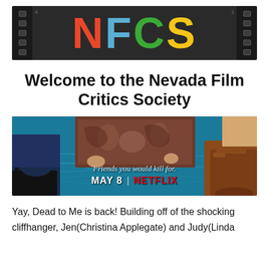[Figure (logo): NFCS logo banner on dark film strip background. N in red, F in blue, C in green, S in yellow/gold.]
Welcome to the Nevada Film Critics Society
[Figure (photo): Netflix Dead to Me Season 2 promotional banner. Two people lying in a pool with text 'Friends you would kill for. MAY 8 | NETFLIX']
Yay, Dead to Me is back! Building off of the shocking cliffhanger, Jen(Christina Applegate) and Judy(Linda